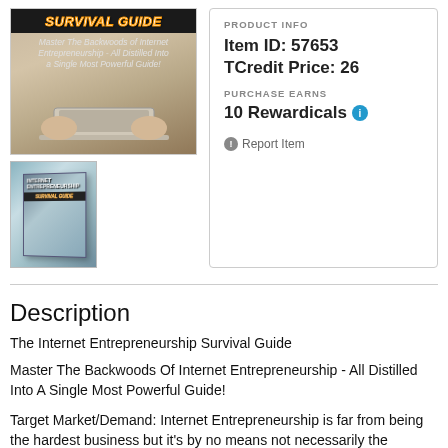[Figure (photo): Main image of Internet Entrepreneurship Survival Guide book cover with dark banner and subtitle text, and a thumbnail 3D book image below]
PRODUCT INFO
Item ID: 57653
TCredit Price: 26
PURCHASE EARNS
10 Rewardicals
Report Item
Description
The Internet Entrepreneurship Survival Guide
Master The Backwoods Of Internet Entrepreneurship - All Distilled Into A Single Most Powerful Guide!
Target Market/Demand: Internet Entrepreneurship is far from being the hardest business but it's by no means not necessarily the easiest, either. Penetrating into E-Commerce with little preparation and fewer tunings to your mindset can just responsible for killing